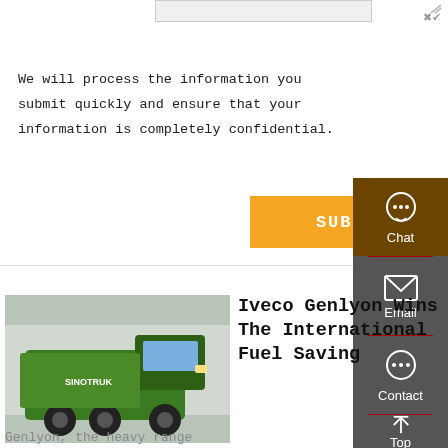We will process the information you submit quickly and ensure that your information is completely confidential.
SUBMIT
[Figure (screenshot): Sidebar with Chat, Email, Contact, and Top navigation icons on dark gray background with dark brown Chat section at top]
[Figure (photo): Green Iveco Genlyon heavy dump truck parked outside a building]
Iveco Genlyon Wins The International Fuel Saving
Genlyon, the heavy range